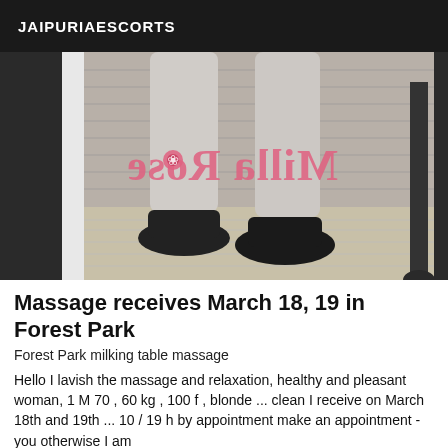JAIPURIAESCORTS
[Figure (photo): Black and white photo showing a woman's legs from the knees down, wearing flat shoes, standing on a wooden floor in front of a brick wall. A mirrored pink text watermark reading 'Milla Rose' with a rose icon is overlaid on the image.]
Massage receives March 18, 19 in Forest Park
Forest Park milking table massage
Hello I lavish the massage and relaxation, healthy and pleasant woman, 1 M 70 , 60 kg , 100 f , blonde ... clean I receive on March 18th and 19th ... 10 / 19 h by appointment make an appointment - you otherwise I am